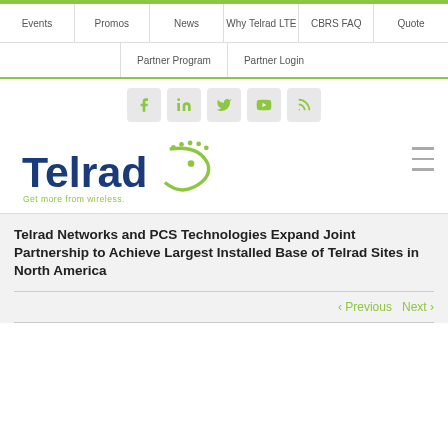Events | Promos | News | Why Telrad LTE | CBRS FAQ | Quote
Partner Program | Partner Login
[Figure (logo): Social media icons: Facebook, LinkedIn, Twitter, YouTube, RSS feed]
[Figure (logo): Telrad logo with tagline 'Get more from wireless.']
Telrad Networks and PCS Technologies Expand Joint Partnership to Achieve Largest Installed Base of Telrad Sites in North America
< Previous   Next >